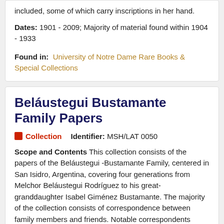included, some of which carry inscriptions in her hand.
Dates: 1901 - 2009; Majority of material found within 1904 - 1933
Found in: University of Notre Dame Rare Books & Special Collections
Beláustegui Bustamante Family Papers
Collection   Identifier: MSH/LAT 0050
Scope and Contents This collection consists of the papers of the Beláustegui -Bustamante Family, centered in San Isidro, Argentina, covering four generations from Melchor Beláustegui Rodríguez to his great-granddaughter Isabel Giménez Bustamante. The majority of the collection consists of correspondence between family members and friends. Notable correspondents include Isabel Giménez Bustamante; her siblings, Rodolfo (Jr), Enrique, María Adela, and María Carlota; and her parents, Rodolfo Giménez